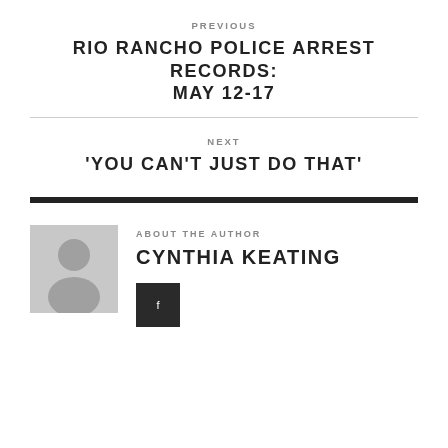PREVIOUS
RIO RANCHO POLICE ARREST RECORDS: MAY 12-17
NEXT
'YOU CAN'T JUST DO THAT'
ABOUT THE AUTHOR
CYNTHIA KEATING
[Figure (other): Author avatar placeholder with generic person silhouette icon in gray]
[Figure (other): Dark square social media button with small icon]